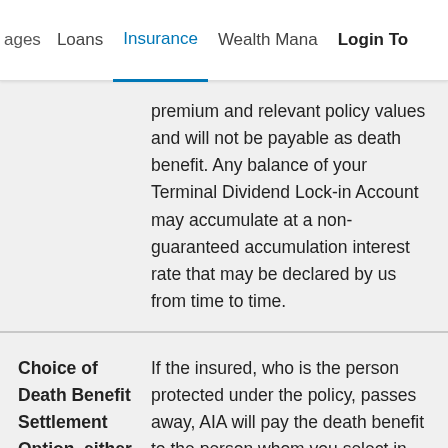ages   Loans   Insurance   Wealth Mana   Login To
premium and relevant policy values and will not be payable as death benefit. Any balance of your Terminal Dividend Lock-in Account may accumulate at a non-guaranteed accumulation interest rate that may be declared by us from time to time.
| Choice of Death Benefit Settlement Option, either in a | If the insured, who is the person protected under the policy, passes away, AIA will pay the death benefit to the person whom you select in your policy as beneficiary. The death |